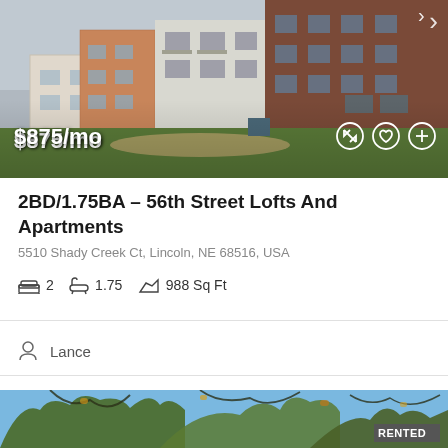[Figure (photo): Exterior photo of apartment building complex with brick and siding, green lawn, at daytime. Price overlay shows $875/mo with fullscreen, favorite, and add icons.]
2BD/1.75BA – 56th Street Lofts And Apartments
5510 Shady Creek Ct, Lincoln, NE 68516, USA
2  1.75  988 Sq Ft
Lance
[Figure (photo): Outdoor photo looking up through tree branches with autumn foliage against blue sky. 'RENTED' badge visible in corner.]